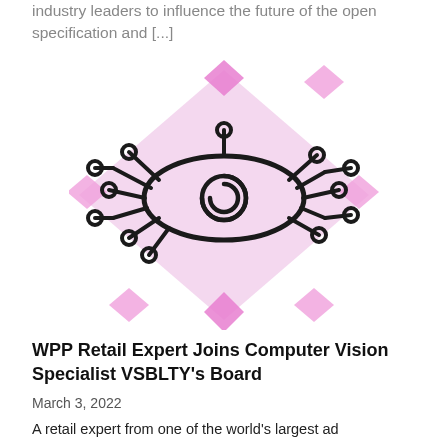industry leaders to influence the future of the open specification and [...]
[Figure (illustration): Digital eye icon with circuit board connectors on a pink diamond/rhombus geometric background pattern. The eye is drawn in a tech/circuit style with nodes and connecting lines extending from both sides.]
WPP Retail Expert Joins Computer Vision Specialist VSBLTY's Board
March 3, 2022
A retail expert from one of the world's largest ad